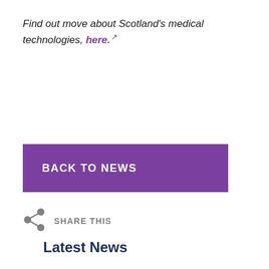Find out move about Scotland's medical technologies, here.
BACK TO NEWS
SHARE THIS
Latest News